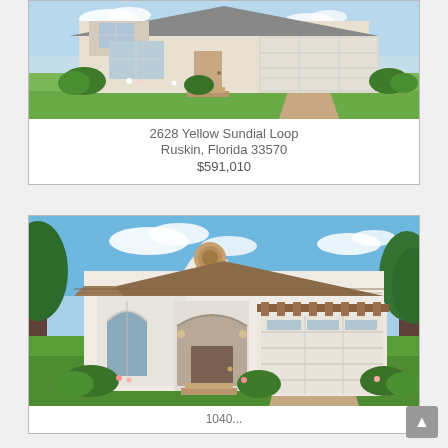[Figure (photo): Exterior rendering of a house at 2628 Yellow Sundial Loop with white siding, dark roof, garage, and landscaping]
2628 Yellow Sundial Loop
Ruskin, Florida 33570
$591,010
[Figure (photo): Exterior rendering of a Spanish-style white stucco house with arched entryway, circular decorative element, brown tile roof, large garage, and landscaping]
1040...